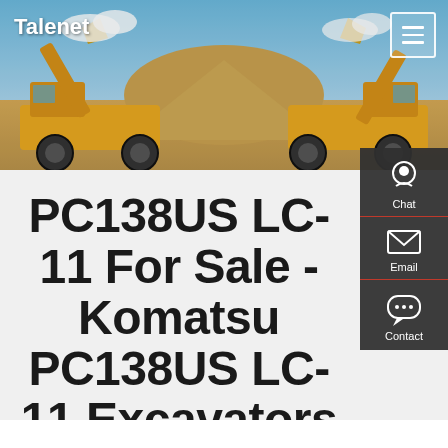[Figure (photo): Header banner showing two large yellow Komatsu wheel loaders facing each other with raised buckets, set against a blue sky and sandy terrain background]
Talenet
[Figure (screenshot): Right sidebar panel with dark background containing Chat, Email, and Contact icons with labels]
PC138US LC-11 For Sale - Komatsu PC138US LC-11 Excavators